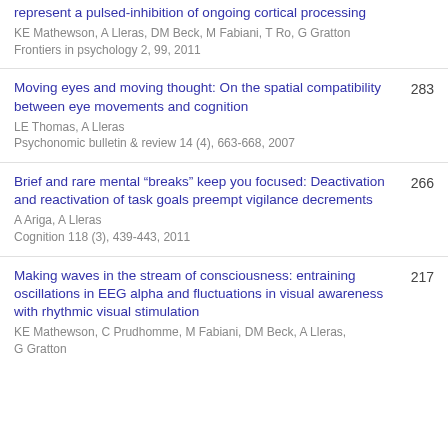represent a pulsed-inhibition of ongoing cortical processing
KE Mathewson, A Lleras, DM Beck, M Fabiani, T Ro, G Gratton
Frontiers in psychology 2, 99, 2011
Moving eyes and moving thought: On the spatial compatibility between eye movements and cognition
LE Thomas, A Lleras
Psychonomic bulletin & review 14 (4), 663-668, 2007
283
Brief and rare mental “breaks” keep you focused: Deactivation and reactivation of task goals preempt vigilance decrements
A Ariga, A Lleras
Cognition 118 (3), 439-443, 2011
266
Making waves in the stream of consciousness: entraining oscillations in EEG alpha and fluctuations in visual awareness with rhythmic visual stimulation
KE Mathewson, C Prudhomme, M Fabiani, DM Beck, A Lleras, G Gratton
217